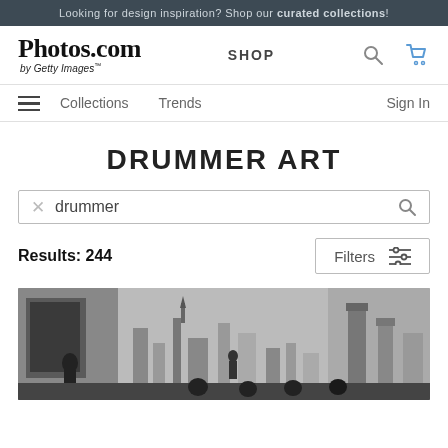Looking for design inspiration? Shop our curated collections!
[Figure (logo): Photos.com by Getty Images logo]
SHOP
Collections   Trends   Sign In
DRUMMER ART
drummer
Results: 244
Filters
[Figure (photo): Black and white photograph showing a rooftop scene with buildings and chimneys in the background, and people visible on the rooftop.]